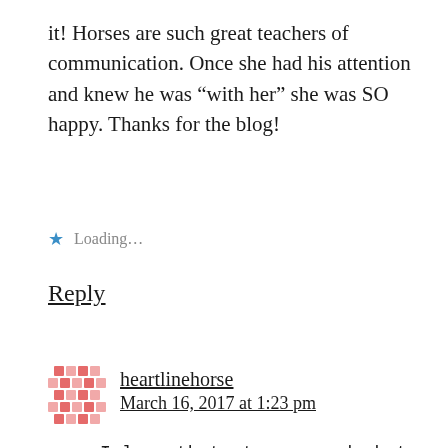it! Horses are such great teachers of communication. Once she had his attention and knew he was “with her” she was SO happy. Thanks for the blog!
Loading…
Reply
heartlinehorse
March 16, 2017 at 1:23 pm
I love that story – and what a lucky young man to have you as his guide with horses. Presence is everything.